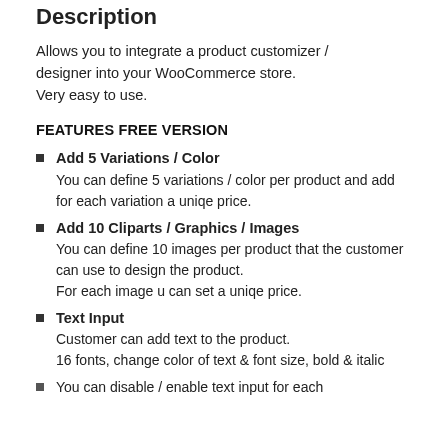Description
Allows you to integrate a product customizer / designer into your WooCommerce store. Very easy to use.
FEATURES FREE VERSION
Add 5 Variations / Color — You can define 5 variations / color per product and add for each variation a uniqe price.
Add 10 Cliparts / Graphics / Images — You can define 10 images per product that the customer can use to design the product. For each image u can set a uniqe price.
Text Input — Customer can add text to the product. 16 fonts, change color of text & font size, bold & italic
You can disable / enable text input for each